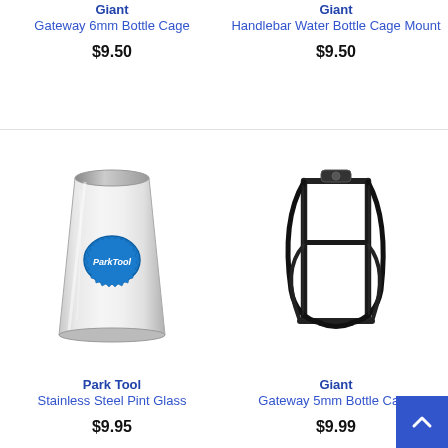Giant
Gateway 6mm Bottle Cage
$9.50
[Figure (photo): Park Tool stainless steel pint glass with blue Park Tool logo]
Park Tool
Stainless Steel Pint Glass
$9.95
Giant
Handlebar Water Bottle Cage Mount
$9.50
[Figure (photo): Giant black wire bottle cage (Gateway 5mm)]
Giant
Gateway 5mm Bottle Cage
$9.99